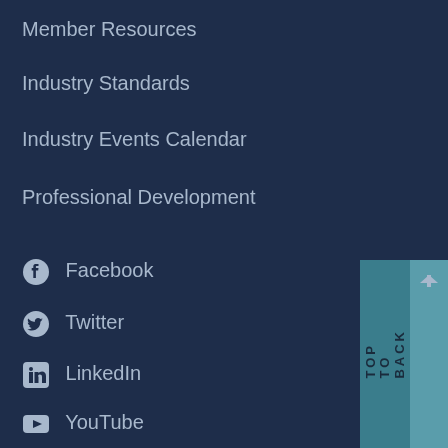Member Resources
Industry Standards
Industry Events Calendar
Professional Development
Facebook
Twitter
LinkedIn
YouTube
Join SIA
SIA Store
About SIA